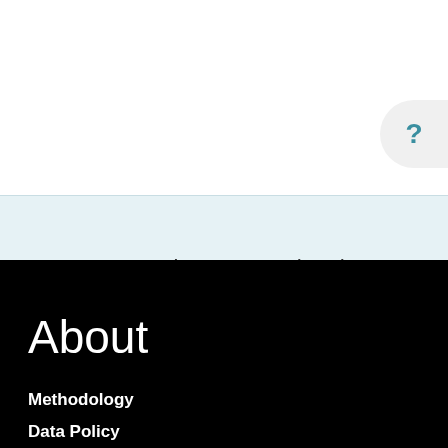[Figure (other): Help/question mark button circle on white background, top right corner]
Want to receive news and updates?
Subscribe to EWS newsletter
About
Methodology
Data Policy